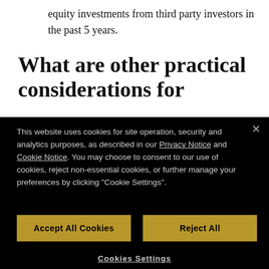equity investments from third party investors in the past 5 years.
What are other practical considerations for potential investors?
This website uses cookies for site operation, security and analytics purposes, as described in our Privacy Notice and Cookie Notice. You may choose to consent to our use of cookies, reject non-essential cookies, or further manage your preferences by clicking "Cookie Settings".
Accept All Cookies
Reject All
Cookies Settings